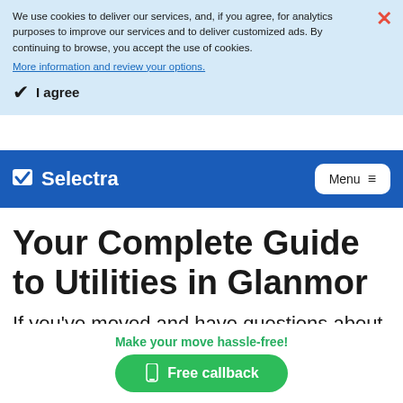We use cookies to deliver our services, and, if you agree, for analytics purposes to improve our services and to deliver customized ads. By continuing to browse, you accept the use of cookies.
More information and review your options.
I agree
Selectra — Menu
Your Complete Guide to Utilities in Glanmor
If you've moved and have questions about
Make your move hassle-free!
Free callback